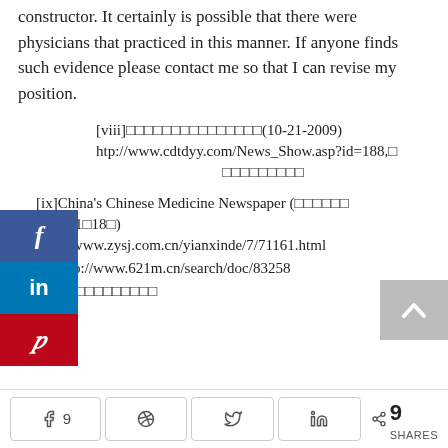constructor. It certainly is possible that there were physicians that practiced in this manner. If anyone finds such evidence please contact me so that I can revise my position.
[viii]□□□□□□□□□□□□□□□(10-21-2009) http://www.cdtdyy.com/News_Show.asp?id=188,□□□□□□□□□
[ix]China's Chinese Medicine Newspaper (□□□□□□ 2010□1□18□) http://www.zysj.com.cn/yianxinde/7/71161.html
[x] http://www.621m.cn/search/doc/83258
[xi]□□□□□□□□□□□